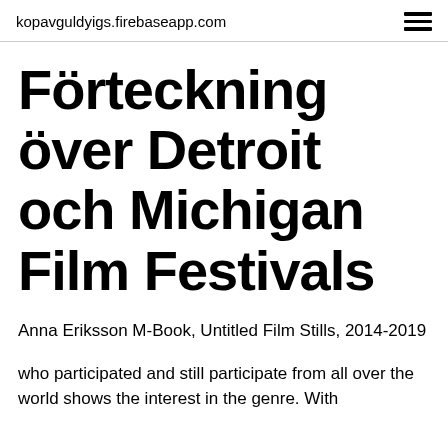kopavguldyigs.firebaseapp.com
Förteckning över Detroit och Michigan Film Festivals
Anna Eriksson M-Book, Untitled Film Stills, 2014-2019
who participated and still participate from all over the world shows the interest in the genre. With